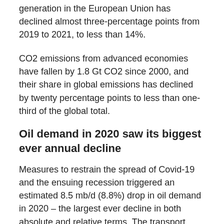generation in the European Union has declined almost three-percentage points from 2019 to 2021, to less than 14%.
CO2 emissions from advanced economies have fallen by 1.8 Gt CO2 since 2000, and their share in global emissions has declined by twenty percentage points to less than one-third of the global total.
Oil demand in 2020 saw its biggest ever annual decline
Measures to restrain the spread of Covid-19 and the ensuing recession triggered an estimated 8.5 mb/d (8.8%) drop in oil demand in 2020 – the largest ever decline in both absolute and relative terms. The transport sector, responsible for around 60% of total oil demand,